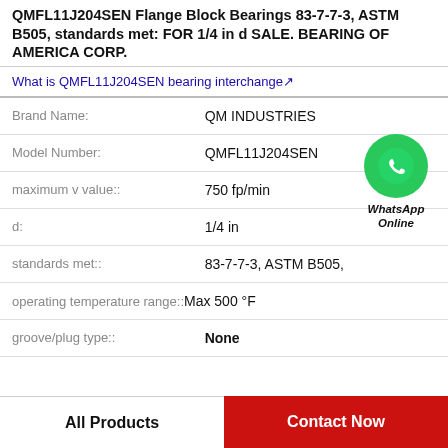QMFL11J204SEN Flange Block Bearings 83-7-7-3, ASTM B505, standards met: FOR 1/4 in d SALE. BEARING OF AMERICA CORP.
What is QMFL11J204SEN bearing interchange
| Attribute | Value |
| --- | --- |
| Brand Name: | QM INDUSTRIES |
| Model Number: | QMFL11J204SEN |
| maximum v value:: | 750 fp/min |
| d: | 1/4 in |
| standards met:: | 83-7-7-3, ASTM B505, |
| operating temperature range:: | Max 500 °F |
| groove/plug type:: | None |
[Figure (logo): WhatsApp Online contact button with green phone icon circle]
All Products
Contact Now